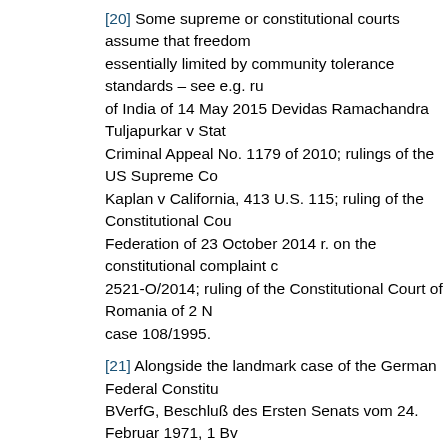[20] Some supreme or constitutional courts assume that freedom essentially limited by community tolerance standards – see e.g. ru of India of 14 May 2015 Devidas Ramachandra Tuljapurkar v Stat Criminal Appeal No. 1179 of 2010; rulings of the US Supreme Co Kaplan v California, 413 U.S. 115; ruling of the Constitutional Cou Federation of 23 October 2014 r. on the constitutional complaint c 2521-O/2014; ruling of the Constitutional Court of Romania of 2 N case 108/1995.
[21] Alongside the landmark case of the German Federal Constitu BVerfG, Beschluß des Ersten Senats vom 24. Februar 1971, 1 Bv
[22] Lindon, Otchakovsky-Laurens and July v France, nos. 21279 October 2007.
[23] Müller et al. v Switzerland, no. 10737/84, 24 May 1988.
[24] Otto-Preminger-Institut v Austria, no. 13470/87, 20 Septembe
[25] Karataş v Turkey, no. 23168/94, 8 July 1999.
[26] Alinak v Turkey, no. 40287/98, 29 March 2005.
[27] Vereinigung Bildender Künstler v Austria, no. 68354/01, 25 Ja
[28] Nikowitz and Verlagsgruppe News GmbH v Austria, no. 5266